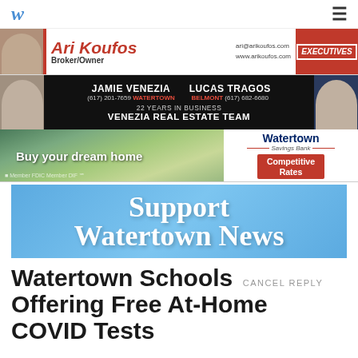W ≡
[Figure (advertisement): Ari Koufos Broker/Owner ad with contact info ari@arikoufos.com and www.arikoufos.com, Executives logo]
[Figure (advertisement): Jamie Venezia (617) 201-7659 Watertown, Lucas Tragos Belmont (617) 682-6680, 22 Years in Business, Venezia Real Estate Team]
[Figure (advertisement): Buy your dream home - Watertown Savings Bank Competitive Rates]
[Figure (advertisement): Support Watertown News]
Watertown Schools Offering Free At-Home COVID Tests CANCEL REPLY